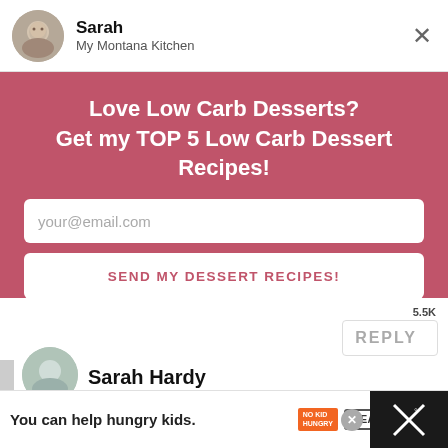[Figure (screenshot): User profile header with avatar photo of Sarah, name 'Sarah', subtitle 'My Montana Kitchen', and close X button]
Love Low Carb Desserts?
Get my TOP 5 Low Carb Dessert Recipes!
your@email.com
SEND MY DESSERT RECIPES!
REPLY
5.5K
WHAT'S NEXT → 40 Trim Healthy Ma...
Sarah Hardy
You can help hungry kids.
LEARN HOW